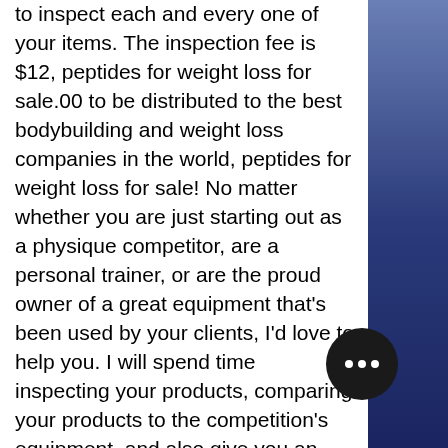to inspect each and every one of your items. The inspection fee is $12, peptides for weight loss for sale.00 to be distributed to the best bodybuilding and weight loss companies in the world, peptides for weight loss for sale! No matter whether you are just starting out as a physique competitor, are a personal trainer, or are the proud owner of a great equipment that's been used by your clients, I'd love to help you. I will spend time inspecting your products, comparing your products to the competition's equipment, and also give you an insight into where your products are falling behind, where to get peptides for weight loss. All I ask is that you contact me after the results of my inspection to discuss any questions you may have regarding pricing and pricing adjustments, you will be sure that you have everything you need to be an excellent competitor, is peptides good for weight loss! I can be